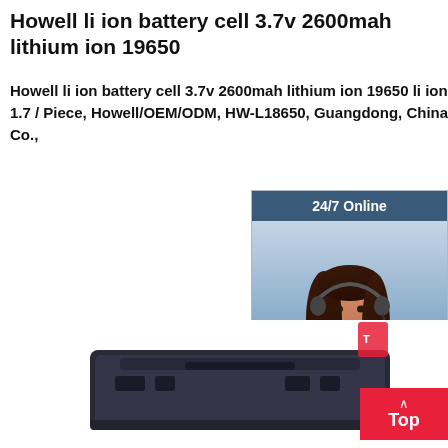Howell li ion battery cell 3.7v 2600mah lithium ion 19650
Howell li ion battery cell 3.7v 2600mah lithium ion 19650 li ion battery, US $ 0.98 - 1.7 / Piece, Howell/OEM/ODM, HW-L18650, Guangdong, China.Source fro Energy Co.,
[Figure (photo): Customer service representative widget with '24/7 Online' header, woman with headset photo, 'Click here for free chat!' text, and orange QUOTATION button]
[Figure (photo): Product photo of a black rectangular battery pack device at the bottom of the page, with a red Top button overlay in the bottom right corner]